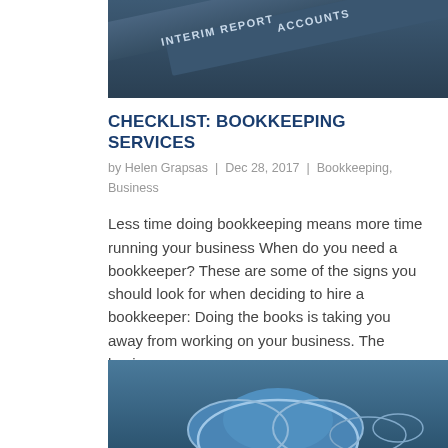[Figure (photo): Close-up photo of binder tabs labeled 'INTERIM REPORT' and 'ACCOUNTS' on a dark blue background]
CHECKLIST: BOOKKEEPING SERVICES
by Helen Grapsas  |  Dec 28, 2017  |  Bookkeeping, Business
Less time doing bookkeeping means more time running your business When do you need a bookkeeper? These are some of the signs you should look for when deciding to hire a bookkeeper: Doing the books is taking you away from working on your business. The business...
[Figure (photo): Cloud computing illustration with a blue cloud icon on a dark blue/grey gradient background]